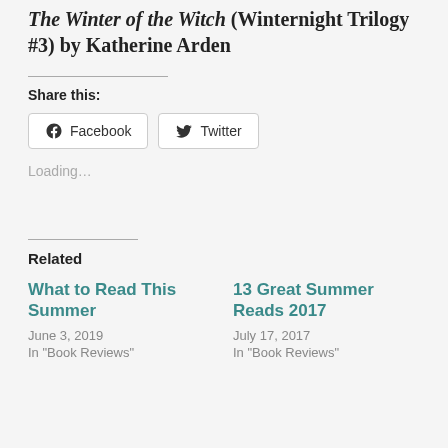The Winter of the Witch (Winternight Trilogy #3) by Katherine Arden
Share this:
Facebook  Twitter
Loading…
Related
What to Read This Summer
June 3, 2019
In "Book Reviews"
13 Great Summer Reads 2017
July 17, 2017
In "Book Reviews"